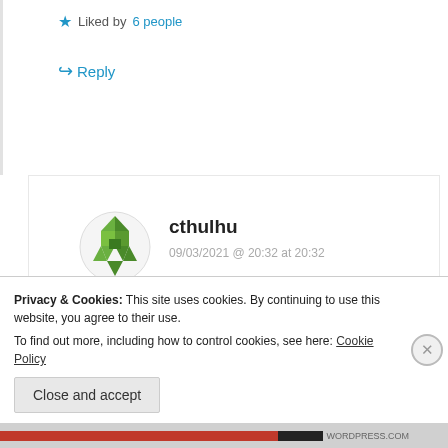★ Liked by 6 people
↪ Reply
cthulhu
09/03/2021 @ 20:32 at 20:32
Thank you, DePat.
★ Liked by 5 people
↪ Reply
Privacy & Cookies: This site uses cookies. By continuing to use this website, you agree to their use.
To find out more, including how to control cookies, see here: Cookie Policy
Close and accept